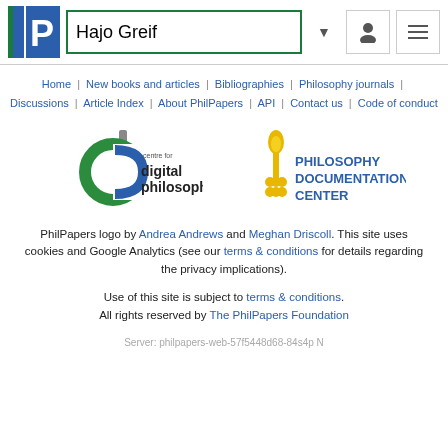Hajo Greif
Home | New books and articles | Bibliographies | Philosophy journals | Discussions | Article Index | About PhilPapers | API | Contact us | Code of conduct
[Figure (logo): Centre for Digital Philosophy logo and Philosophy Documentation Center logo side by side]
PhilPapers logo by Andrea Andrews and Meghan Driscoll. This site uses cookies and Google Analytics (see our terms & conditions for details regarding the privacy implications).
Use of this site is subject to terms & conditions. All rights reserved by The PhilPapers Foundation
Server: philpapers-web-57f5448d68-84s4p N